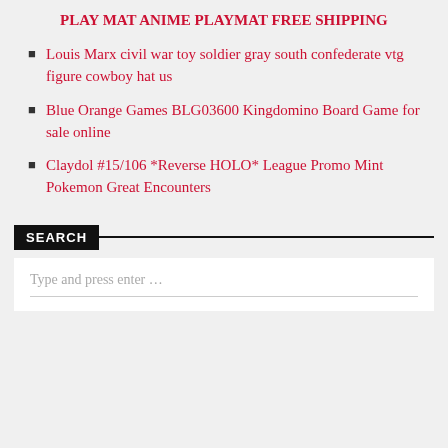PLAY MAT ANIME PLAYMAT FREE SHIPPING
Louis Marx civil war toy soldier gray south confederate vtg figure cowboy hat us
Blue Orange Games BLG03600 Kingdomino Board Game for sale online
Claydol #15/106 *Reverse HOLO* League Promo Mint Pokemon Great Encounters
SEARCH
Type and press enter …